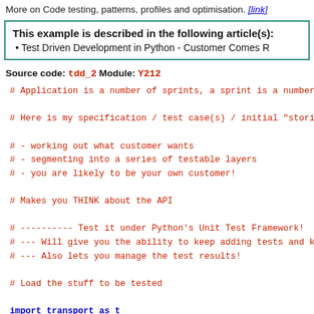More on Code testing, patterns, profiles and optimisation. [link]
This example is described in the following article(s): • Test Driven Development in Python - Customer Comes R...
Source code: tdd_2 Module: Y212
# Application is a number of sprints, a sprint is a number o...
# Here is my specification / test case(s) / initial "stories...
# - working out what customer wants
# - segmenting into a series of testable layers
# - you are likely to be your own customer!
# Makes you THINK about the API
# ---------- Test it under Python's Unit Test Framework!
# --- Will give you the ability to keep adding tests and kee...
# --- Also lets you manage the test results!
# Load the stuff to be tested
import transport as t
# Load the test harness
import unittest